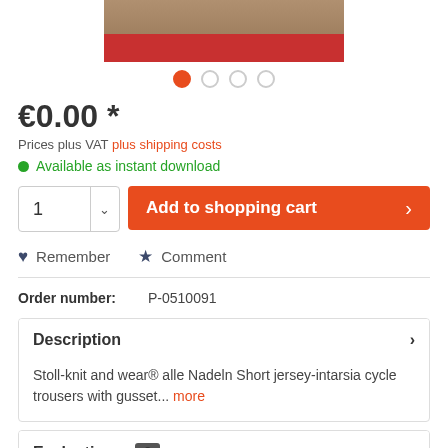[Figure (photo): Cropped product image showing cycling trousers legs at the top of the page]
€0.00 *
Prices plus VAT plus shipping costs
Available as instant download
1
Add to shopping cart
Remember
Comment
Order number: P-0510091
Description
Stoll-knit and wear® alle Nadeln Short jersey-intarsia cycle trousers with gusset... more
Evaluations 0